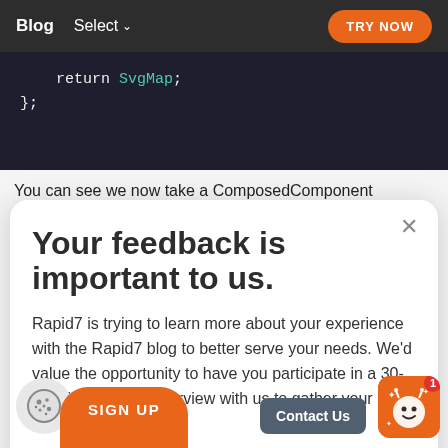Blog  Select  TRY NOW
[Figure (screenshot): Dark code editor block showing: return SvgMap; };]
You can see we now take a ComposedComponent
Your feedback is important to us.
Rapid7 is trying to learn more about your experience with the Rapid7 blog to better serve your needs. We'd value the opportunity to have you participate in a 30-45 minute Zoom interview with us to gather your input.
[Figure (illustration): Cookie icon button (circular grey button with cookie icon)]
SIGN UP
Contact Us
[Figure (illustration): Chat widget icon (orange rounded square with character illustration and red badge showing 1)]